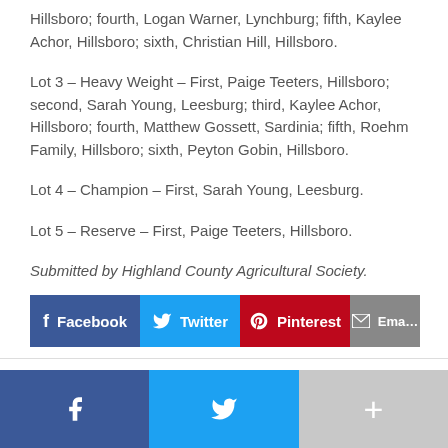Hillsboro; fourth, Logan Warner, Lynchburg; fifth, Kaylee Achor, Hillsboro; sixth, Christian Hill, Hillsboro.
Lot 3 – Heavy Weight – First, Paige Teeters, Hillsboro; second, Sarah Young, Leesburg; third, Kaylee Achor, Hillsboro; fourth, Matthew Gossett, Sardinia; fifth, Roehm Family, Hillsboro; sixth, Peyton Gobin, Hillsboro.
Lot 4 – Champion – First, Sarah Young, Leesburg.
Lot 5 – Reserve – First, Paige Teeters, Hillsboro.
Submitted by Highland County Agricultural Society.
[Figure (infographic): Social sharing buttons: Facebook (blue), Twitter (light blue), Pinterest (red), Email (gray)]
[Figure (infographic): Bottom social bar: Facebook (dark blue), Twitter (light blue), More/+ (gray)]